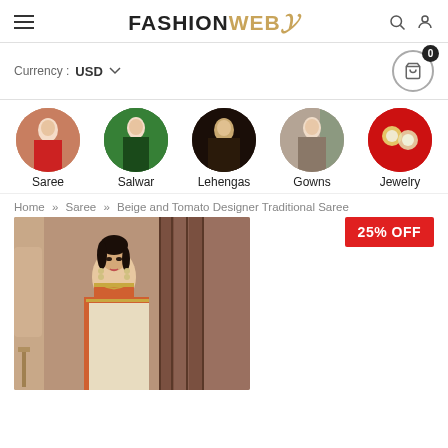FASHIONWEB (logo with hamburger, search, user icons)
Currency : USD
[Figure (illustration): Five circular category images: Saree (woman in red saree), Salwar (woman in green salwar), Lehengas (woman in bridal lehnga), Gowns (woman in gown), Jewelry (diamond earrings on red background)]
Saree
Salwar
Lehengas
Gowns
Jewelry
Home » Saree » Beige and Tomato Designer Traditional Saree
[Figure (photo): Woman wearing beige and tomato/orange designer traditional saree with embroidered blouse and jewelry, standing in an ornate interior setting]
25% OFF